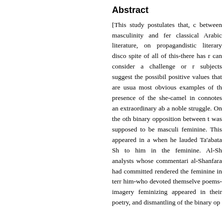Abstract
[This study postulates that, c between masculinity and fer classical Arabic literature, on propagandistic literary disco spite of all of this-there has r can consider a challenge or r subjects suggest the possibil positive values that are usua most obvious examples of th presence of the she-camel in connotes an extraordinary ab a noble struggle. On the oth binary opposition between t was supposed to be masculi feminine. This appeared in a when he lauded Ta'abata Sh to him in the feminine. Al-Sh analysts whose commentari al-Shanfara had committed rendered the feminine in terr him-who devoted themselve poems-imagery feminizing appeared in their poetry, and dismantling of the binary op